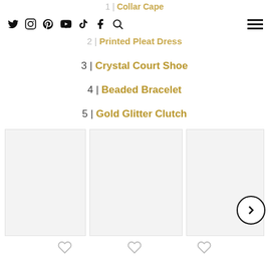1 | Collar Cape
nav bar with social icons and hamburger menu
2 | Printed Pleat Dress
3 | Crystal Court Shoe
4 | Beaded Bracelet
5 | Gold Glitter Clutch
[Figure (photo): Three product image cards in a horizontal grid, each with a heart/like icon below]
[Figure (other): Next/forward navigation arrow button circle]